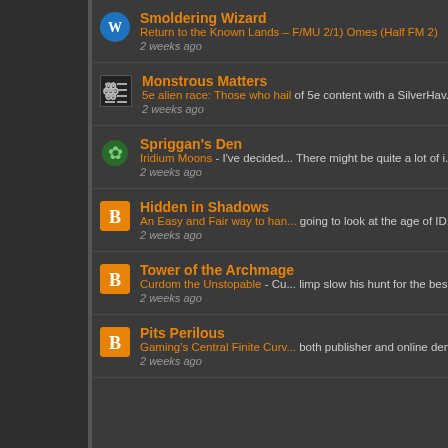Smoldering Wizard - Return to the Known Lands – F/MU 2/1) Omes (Half FM 2) - 2 weeks ago
Monstrous Matters - 5e alien race: Those who hail of 5e content with a SilverHav... - 2 weeks ago
Spriggan's Den - Iridium Moons - I've decided... There might be quite a lot of i... - 2 weeks ago
Hidden in Shadows - An Easy and Fair way to han... going to look at the age of ID... - 2 weeks ago
Tower of the Archmage - Curdom the Unstopable - Cur... limp slow his hunt for the bes... - 2 weeks ago
Pits Perilous - Gaming's Central Finite Curv... both publisher and online dem... - 2 weeks ago